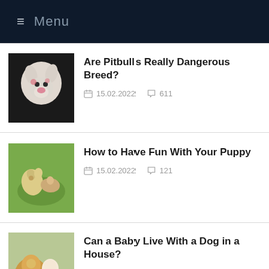≡ Menu
Are Pitbulls Really Dangerous Breed? | 15.02.2022 | 611
How to Have Fun With Your Puppy | 15.02.2022 | 121
Can a Baby Live With a Dog in a House? | 15.02.2022 | 297
How Much Does Owning a Puppy Really Cost? | 15.02.2022 | 144